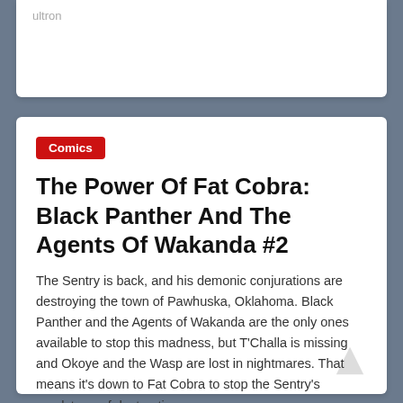ultron
Comics
The Power Of Fat Cobra: Black Panther And The Agents Of Wakanda #2
The Sentry is back, and his demonic conjurations are destroying the town of Pawhuska, Oklahoma. Black Panther and the Agents of Wakanda are the only ones available to stop this madness, but T'Challa is missing and Okoye and the Wasp are lost in nightmares. That means it's down to Fat Cobra to stop the Sentry's maelstrom of destruction.
Read more